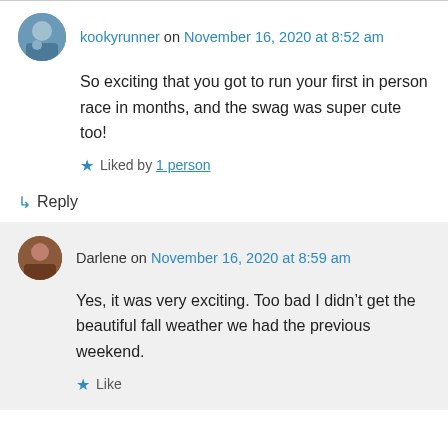kookyrunner on November 16, 2020 at 8:52 am
So exciting that you got to run your first in person race in months, and the swag was super cute too!
Liked by 1 person
↵ Reply
Darlene on November 16, 2020 at 8:59 am
Yes, it was very exciting. Too bad I didn't get the beautiful fall weather we had the previous weekend.
Like